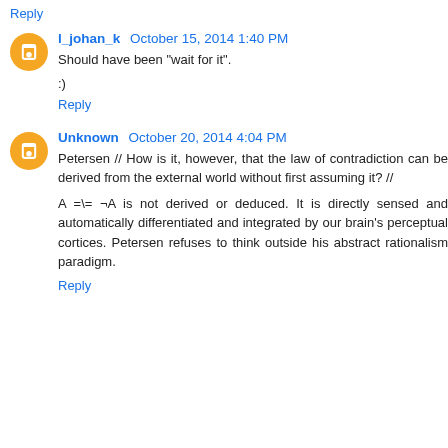Reply
l_johan_k October 15, 2014 1:40 PM
Should have been "wait for it".
:)
Reply
Unknown October 20, 2014 4:04 PM
Petersen // How is it, however, that the law of contradiction can be derived from the external world without first assuming it? //
A =\= ¬A is not derived or deduced. It is directly sensed and automatically differentiated and integrated by our brain's perceptual cortices. Petersen refuses to think outside his abstract rationalism paradigm.
Reply